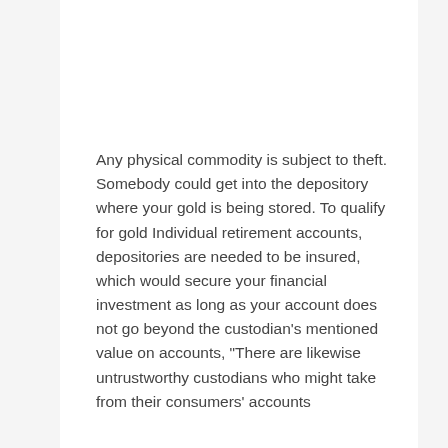Any physical commodity is subject to theft. Somebody could get into the depository where your gold is being stored. To qualify for gold Individual retirement accounts, depositories are needed to be insured, which would secure your financial investment as long as your account does not go beyond the custodian’s mentioned value on accounts, “There are likewise untrustworthy custodians who might take from their consumers’ accounts